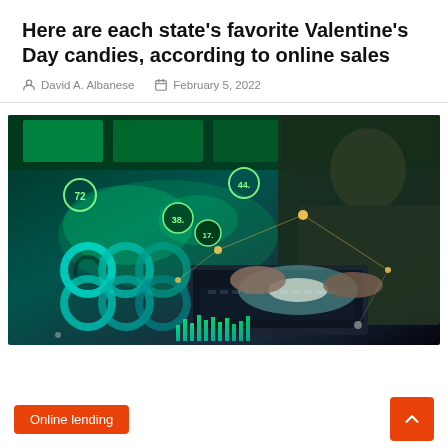Here are each state's favorite Valentine's Day candies, according to online sales
David A. Albanese   February 5, 2022
[Figure (photo): Person working on a laptop with digital data visualization overlay showing world map, circular icons, bar chart animations, and network nodes in green and blue tones on a dark background]
Online lending